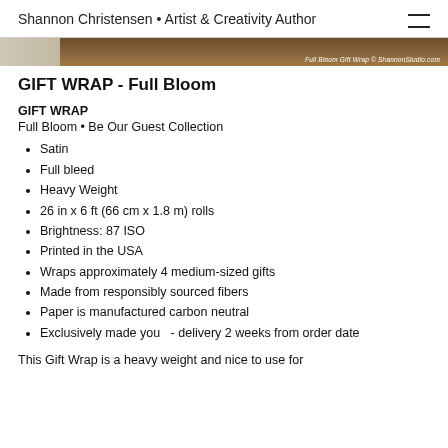Shannon Christensen • Artist & Creativity Author
[Figure (photo): Partial image of a gift wrap product with brown/wood background, with caption: Full Bloom Gift Wrap © ShannonStudio.com]
GIFT WRAP - Full Bloom
GIFT WRAP
Full Bloom • Be Our Guest Collection
Satin
Full bleed
Heavy Weight
26 in x 6 ft (66 cm x 1.8 m) rolls
Brightness: 87 ISO
Printed in the USA
Wraps approximately 4 medium-sized gifts
Made from responsibly sourced fibers
Paper is manufactured carbon neutral
Exclusively made you  - delivery 2 weeks from order date
This Gift Wrap is a heavy weight and nice to use for